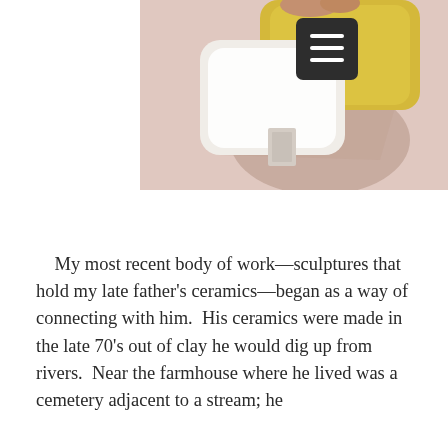[Figure (photo): A person holding two pillows—one white and one yellow/mustard—against a light pink/beige wall. The pillows cast shadows on the wall. A dark rounded-rectangle menu icon (hamburger button) overlays the upper right portion of the photo.]
My most recent body of work—sculptures that hold my late father's ceramics—began as a way of connecting with him.  His ceramics were made in the late 70's out of clay he would dig up from rivers.  Near the farmhouse where he lived was a cemetery adjacent to a stream; he